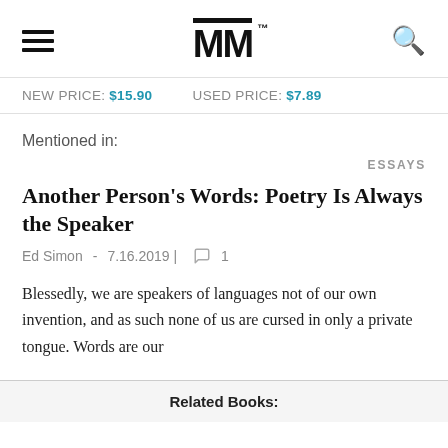MM (logo with TM mark)
NEW PRICE: $15.90   USED PRICE: $7.89
Mentioned in:
ESSAYS
Another Person's Words: Poetry Is Always the Speaker
Ed Simon - 7.16.2019 |  🗨 1
Blessedly, we are speakers of languages not of our own invention, and as such none of us are cursed in only a private tongue. Words are our
Related Books: